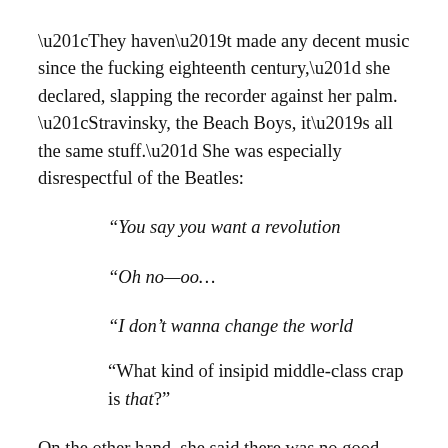“They haven’t made any decent music since the fucking eighteenth century,” she declared, slapping the recorder against her palm. “Stravinsky, the Beach Boys, it’s all the same stuff.” She was especially disrespectful of the Beatles:
“You say you want a revolution
“Oh no—oo…
“I don’t wanna change the world
“What kind of insipid middle-class crap is that?"
On the other hand, she said there was no good sculpture until the twentieth century. I couldn’t argue with her, even when I spoke of the ancient Greeks and all their